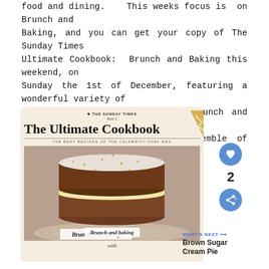food and dining.   This weeks focus is  on Brunch and Baking, and you can get your copy of The Sunday Times Ultimate Cookbook:  Brunch and Baking this weekend, on Sunday the 1st of December, featuring a wonderful variety of the finest and most delicious Brunch and Baking recipes brought to you by a great ensemble of celebrity chefs and restaurants here in the UK.
[Figure (photo): The Sunday Times Ultimate Cookbook cover featuring 'Brunch and baking' with a photo of a layered cake dusted with icing sugar and gold star decorations. Includes a heart/like button showing count of 2, a share button, and a 'WHAT'S NEXT' panel showing 'Brown Sugar Cream Pie'.]